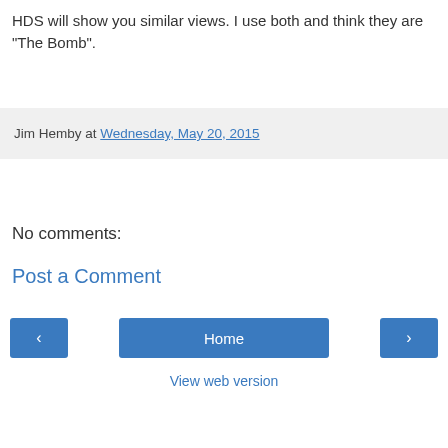HDS will show you similar views. I use both and think they are "The Bomb".
Jim Hemby at Wednesday, May 20, 2015
No comments:
Post a Comment
Home
View web version